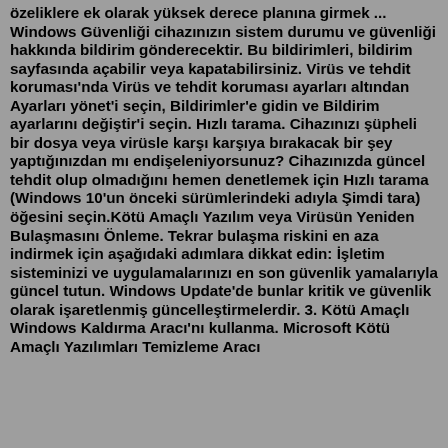özeliklere ek olarak yüksek derece planına girmek ... Windows Güvenliği cihazınızın sistem durumu ve güvenliği hakkında bildirim gönderecektir. Bu bildirimleri, bildirim sayfasında açabilir veya kapatabilirsiniz. Virüs ve tehdit koruması'nda Virüs ve tehdit koruması ayarları altından Ayarları yönet'i seçin, Bildirimler'e gidin ve Bildirim ayarlarını değiştir'i seçin. Hızlı tarama. Cihazınızı şüpheli bir dosya veya virüsle karşı karşıya bırakacak bir şey yaptığınızdan mı endişeleniyorsunuz? Cihazınızda güncel tehdit olup olmadığını hemen denetlemek için Hızlı tarama (Windows 10'un önceki sürümlerindeki adıyla Şimdi tara) öğesini seçin.Kötü Amaçlı Yazılım veya Virüsün Yeniden Bulaşmasını Önleme. Tekrar bulaşma riskini en aza indirmek için aşağıdaki adımlara dikkat edin: İşletim sisteminizi ve uygulamalarınızı en son güvenlik yamalarıyla güncel tutun. Windows Update'de bunlar kritik ve güvenlik olarak işaretlenmiş güncelleştirmelerdir. 3. Kötü Amaçlı Windows Kaldırma Aracı'nı kullanma. Microsoft Kötü Amaçlı Yazılımları Temizleme Aracı